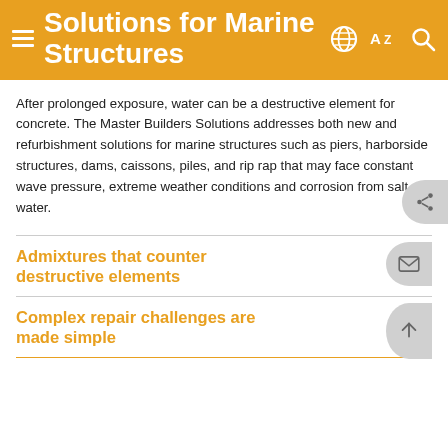Solutions for Marine Structures
After prolonged exposure, water can be a destructive element for concrete. The Master Builders Solutions addresses both new and refurbishment solutions for marine structures such as piers, harborside structures, dams, caissons, piles, and rip rap that may face constant wave pressure, extreme weather conditions and corrosion from salt water.
Admixtures that counter destructive elements
Complex repair challenges are made simple